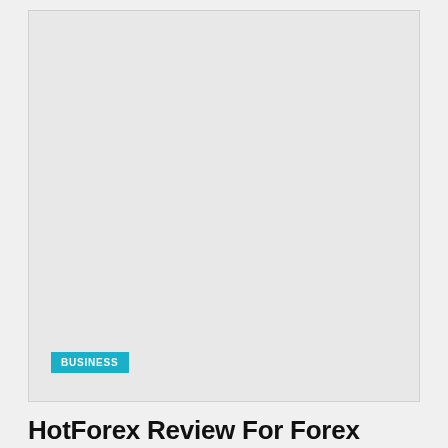[Figure (photo): Light gray placeholder image card for article thumbnail, with a cyan BUSINESS category badge in the lower-left corner]
HotForex Review For Forex Trading Beginners
2 MONTHS AGO
[Figure (photo): Second light gray placeholder image card for another article thumbnail]